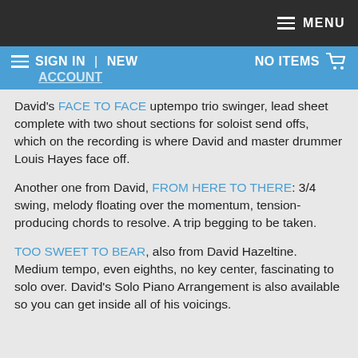MENU
SIGN IN | NEW ACCOUNT   NO ITEMS
David's FACE TO FACE uptempo trio swinger, lead sheet complete with two shout sections for soloist send offs, which on the recording is where David and master drummer Louis Hayes face off.
Another one from David, FROM HERE TO THERE: 3/4 swing, melody floating over the momentum, tension-producing chords to resolve. A trip begging to be taken.
TOO SWEET TO BEAR, also from David Hazeltine. Medium tempo, even eighths, no key center, fascinating to solo over. David's Solo Piano Arrangement is also available so you can get inside all of his voicings.